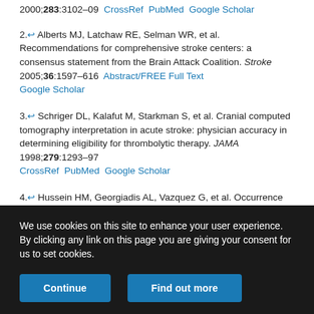2000;283:3102–09  CrossRef  PubMed  Google Scholar
2.↩ Alberts MJ, Latchaw RE, Selman WR, et al. Recommendations for comprehensive stroke centers: a consensus statement from the Brain Attack Coalition. Stroke 2005;36:1597–616  Abstract/FREE Full Text  Google Scholar
3.↩ Schriger DL, Kalafut M, Starkman S, et al. Cranial computed tomography interpretation in acute stroke: physician accuracy in determining eligibility for thrombolytic therapy. JAMA 1998;279:1293–97  CrossRef  PubMed  Google Scholar
4.↩ Hussein HM, Georgiadis AL, Vazquez G, et al. Occurrence and predictors of futile recanalization following endovascular treatment among patients with acute ischemic stroke: a multicenter study. AJNR Am J Neuroradiol 2010;31:454–58  Abstract/FREE Full Text  Google Scholar
We use cookies on this site to enhance your user experience. By clicking any link on this page you are giving your consent for us to set cookies.